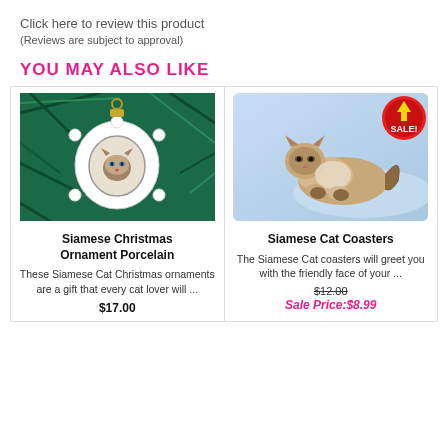Click here to review this product
(Reviews are subject to approval)
YOU MAY ALSO LIKE
[Figure (photo): Siamese Christmas Ornament Porcelain on evergreen tree background]
Siamese Christmas Ornament Porcelain
These Siamese Cat Christmas ornaments are a gift that every cat lover will ...
$17.00
[Figure (photo): Siamese Cat Coasters product image with SALE badge]
Siamese Cat Coasters
The Siamese Cat coasters will greet you with the friendly face of your ...
$12.00 Sale Price:$8.99